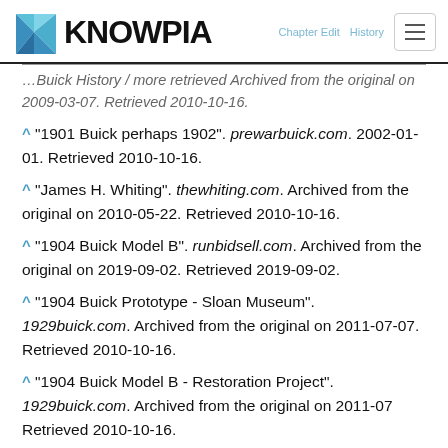KNOWPIA
^ "1901 Buick perhaps 1902". prewarbuick.com. 2002-01-01. Retrieved 2010-10-16.
^ "James H. Whiting". thewhiting.com. Archived from the original on 2010-05-22. Retrieved 2010-10-16.
^ "1904 Buick Model B". runbidsell.com. Archived from the original on 2019-09-02. Retrieved 2019-09-02.
^ "1904 Buick Prototype - Sloan Museum". 1929buick.com. Archived from the original on 2011-07-07. Retrieved 2010-10-16.
^ "1904 Buick Model B - Restoration Project". 1929buick.com. Archived from the original on 2011-07 Retrieved 2010-10-16.
^ "A Heritage of Precision". Buick. Archived from the original